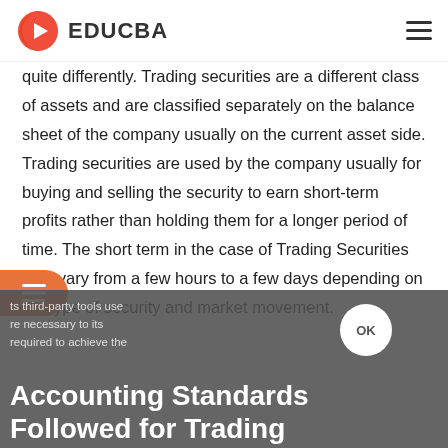EDUCBA
quite differently. Trading securities are a different class of assets and are classified separately on the balance sheet of the company usually on the current asset side. Trading securities are used by the company usually for buying and selling the security to earn short-term profits rather than holding them for a longer period of time. The short term in the case of Trading Securities may vary from a few hours to a few days depending on the type of security and market movement.
Accounting Standards Followed for Trading